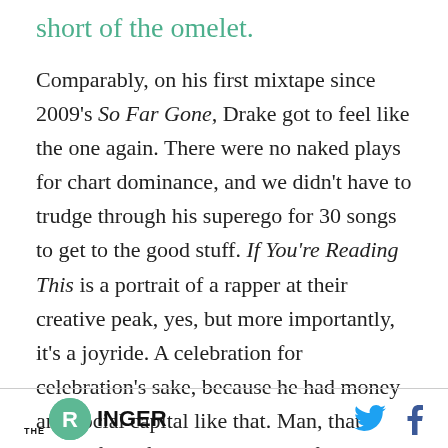short of the omelet.
Comparably, on his first mixtape since 2009's So Far Gone, Drake got to feel like the one again. There were no naked plays for chart dominance, and we didn't have to trudge through his superego for 30 songs to get to the good stuff. If You're Reading This is a portrait of a rapper at their creative peak, yes, but more importantly, it's a joyride. A celebration for celebration's sake, because he had money and social capital like that. Man, that Drake from five years ago was fun. ■
THE RINGER [logo]